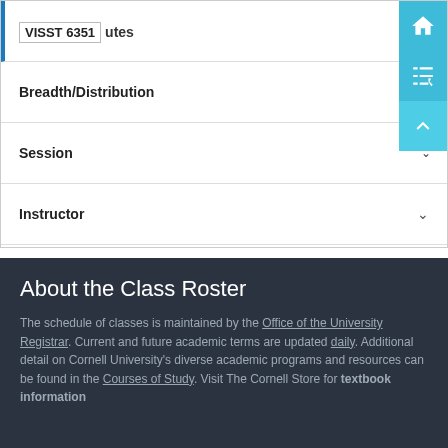VISST 6351 utes
Breadth/Distribution
Session
Instructor
Instruction Mode
Grade Option
About the Class Roster
The schedule of classes is maintained by the Office of the University Registrar. Current and future academic terms are updated daily. Additional detail on Cornell University's diverse academic programs and resources can be found in the Courses of Study. Visit The Cornell Store for textbook information